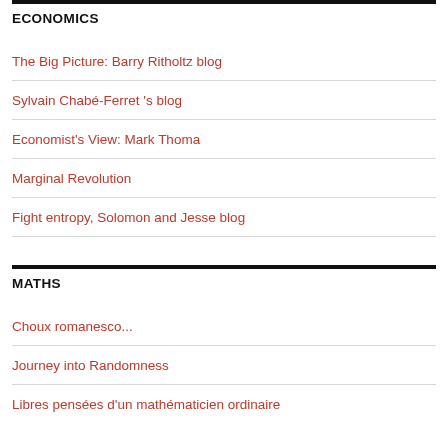ECONOMICS
The Big Picture: Barry Ritholtz blog
Sylvain Chabé-Ferret 's blog
Economist's View: Mark Thoma
Marginal Revolution
Fight entropy, Solomon and Jesse blog
MATHS
Choux romanesco...
Journey into Randomness
Libres pensées d'un mathématicien ordinaire